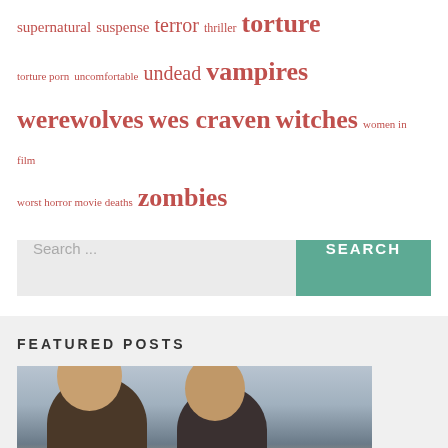supernatural suspense terror thriller torture torture porn uncomfortable undead vampires werewolves wes craven witches women in film worst horror movie deaths zombies
[Figure (screenshot): Search bar with light gray input field showing 'Search ...' placeholder text and a teal/green 'SEARCH' button]
FEATURED POSTS
[Figure (photo): Two men sitting in a car, photographed from inside the vehicle. Both have dark hair and beards. Background shows car interior and outside scenery.]